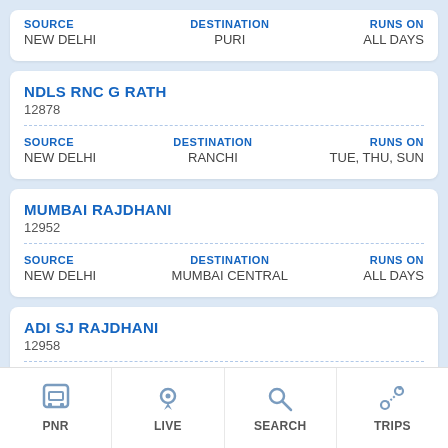| SOURCE | DESTINATION | RUNS ON |
| --- | --- | --- |
| NEW DELHI | PURI | ALL DAYS |
NDLS RNC G RATH
12878
SOURCE: NEW DELHI | DESTINATION: RANCHI | RUNS ON: TUE, THU, SUN
MUMBAI RAJDHANI
12952
SOURCE: NEW DELHI | DESTINATION: MUMBAI CENTRAL | RUNS ON: ALL DAYS
ADI SJ RAJDHANI
12958
SOURCE: NEW DELHI | DESTINATION: AHMEDABAD JN | RUNS ON: ALL DAYS
NDLS DT EX... 1400... SOURCE N...
PNR | LIVE | SEARCH | TRIPS